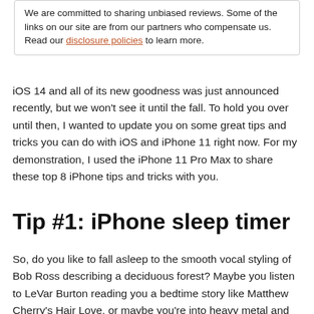We are committed to sharing unbiased reviews. Some of the links on our site are from our partners who compensate us. Read our disclosure policies to learn more.
iOS 14 and all of its new goodness was just announced recently, but we won't see it until the fall. To hold you over until then, I wanted to update you on some great tips and tricks you can do with iOS and iPhone 11 right now. For my demonstration, I used the iPhone 11 Pro Max to share these top 8 iPhone tips and tricks with you.
Tip #1: iPhone sleep timer
So, do you like to fall asleep to the smooth vocal styling of Bob Ross describing a deciduous forest? Maybe you listen to LeVar Burton reading you a bedtime story like Matthew Cherry's Hair Love, or maybe you're into heavy metal and your dark soul is uplifted by the classics like Rammstein.
Well, if it's bedtime and you want to set a limit on all that love, your iPhone has a sleep timer you may not know about. Here's how you